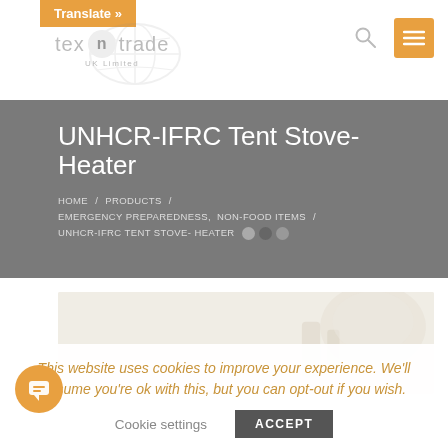Translate »
[Figure (logo): tex n trade UK Limited logo with globe watermark]
UNHCR-IFRC Tent Stove- Heater
HOME / PRODUCTS / EMERGENCY PREPAREDNESS, NON-FOOD ITEMS / UNHCR-IFRC TENT STOVE- HEATER
[Figure (photo): Product image of UNHCR-IFRC Tent Stove-Heater on light beige background]
This website uses cookies to improve your experience. We'll assume you're ok with this, but you can opt-out if you wish.
Cookie settings   ACCEPT